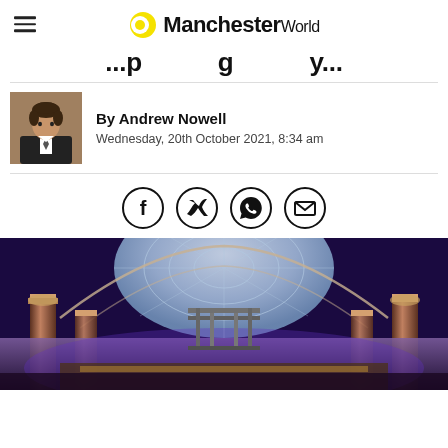ManchesterWorld
...p...g...y...
By Andrew Nowell
Wednesday, 20th October 2021, 8:34 am
[Figure (infographic): Social media sharing icons: Facebook, Twitter, WhatsApp, Email - each in a circle]
[Figure (photo): Interior of a grand building under renovation, featuring ornate columns, a large glass dome ceiling with geometric patterning, and scaffolding in the centre. Purple lighting illuminates the space.]